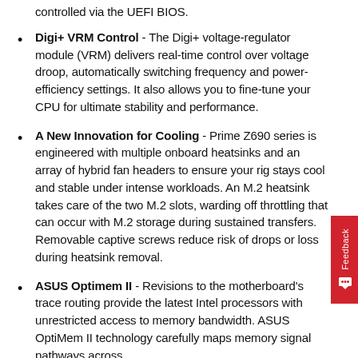controlled via the UEFI BIOS.
Digi+ VRM Control - The Digi+ voltage-regulator module (VRM) delivers real-time control over voltage droop, automatically switching frequency and power-efficiency settings. It also allows you to fine-tune your CPU for ultimate stability and performance.
A New Innovation for Cooling - Prime Z690 series is engineered with multiple onboard heatsinks and an array of hybrid fan headers to ensure your rig stays cool and stable under intense workloads. An M.2 heatsink takes care of the two M.2 slots, warding off throttling that can occur with M.2 storage during sustained transfers. Removable captive screws reduce risk of drops or loss during heatsink removal.
ASUS Optimem II - Revisions to the motherboard's trace routing provide the latest Intel processors with unrestricted access to memory bandwidth. ASUS OptiMem II technology carefully maps memory signal pathways across